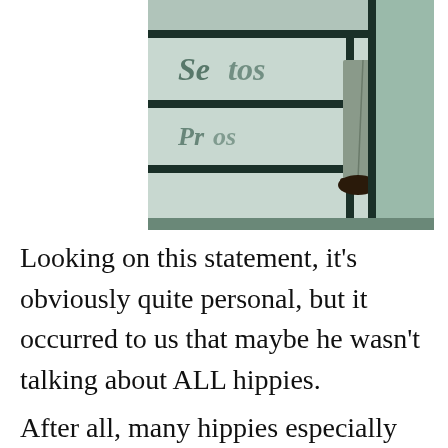[Figure (photo): Black and white photograph showing the lower body and legs of a person walking past a storefront window. The person is wearing trousers and dress shoes. A storefront sign is partially visible reflected in the glass.]
Looking on this statement, it's obviously quite personal, but it occurred to us that maybe he wasn't talking about ALL hippies.
After all, many hippies especially those